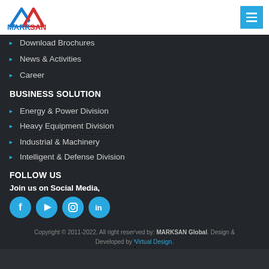[Figure (logo): MARKSAN company logo with blue and red mountain/arrow shapes above the text MARKSAN]
Download Brochures
News & Activities
Career
BUSINESS SOLUTION
Energy & Power Division
Heavy Equipment Division
Industrial & Machinery
Intelligent & Defense Division
FOLLOW US
Join us on Social Media,
[Figure (infographic): Four circular social media icons: Facebook, YouTube, Instagram, LinkedIn]
Copyright © 2011-2022. All right reserved by: MARKSAN Global. Design & Developed by Virtual Design.